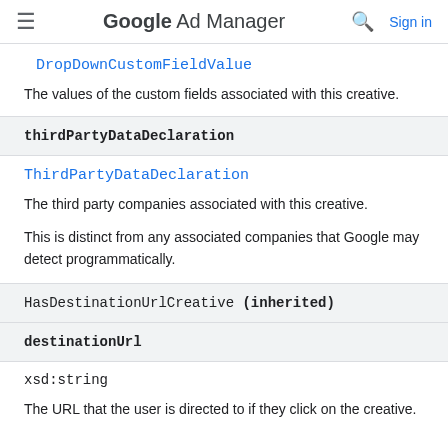Google Ad Manager  Sign in
DropDownCustomFieldValue
The values of the custom fields associated with this creative.
thirdPartyDataDeclaration
ThirdPartyDataDeclaration
The third party companies associated with this creative.
This is distinct from any associated companies that Google may detect programmatically.
HasDestinationUrlCreative (inherited)
destinationUrl
xsd:string
The URL that the user is directed to if they click on the creative.